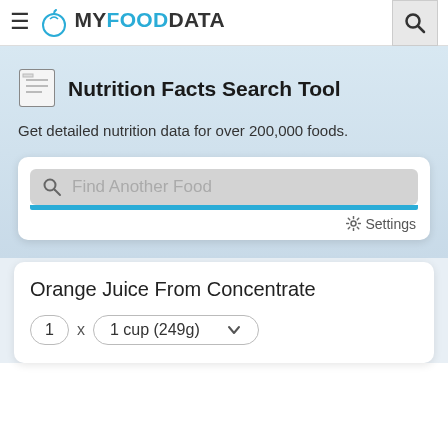≡ MYFOODDATA [search icon]
Nutrition Facts Search Tool
Get detailed nutrition data for over 200,000 foods.
[Figure (screenshot): Search input field with placeholder 'Find Another Food', blue underline bar, and Settings gear icon]
Orange Juice From Concentrate
1 x 1 cup (249g)